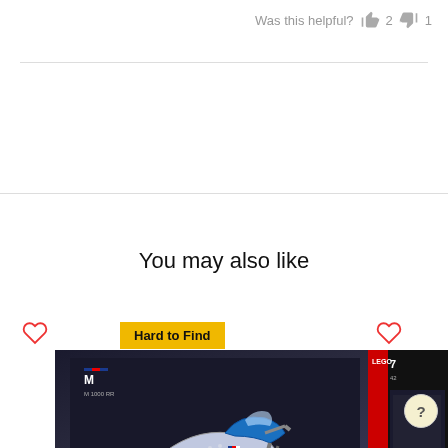Was this helpful? 👍 2 👎 1
You may also like
Hard to Find
[Figure (photo): LEGO Technic BMW M 1000 RR motorcycle model box product photo on dark background]
[Figure (photo): Partial view of another LEGO product box on dark background, right side of page]